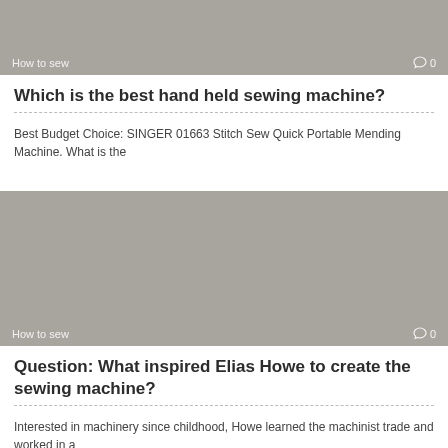[Figure (photo): Gray placeholder image with 'How to sew' label and comment count 0]
Which is the best hand held sewing machine?
Best Budget Choice: SINGER 01663 Stitch Sew Quick Portable Mending Machine. What is the
[Figure (photo): Gray placeholder image with 'How to sew' label and comment count 0]
Question: What inspired Elias Howe to create the sewing machine?
Interested in machinery since childhood, Howe learned the machinist trade and worked in a